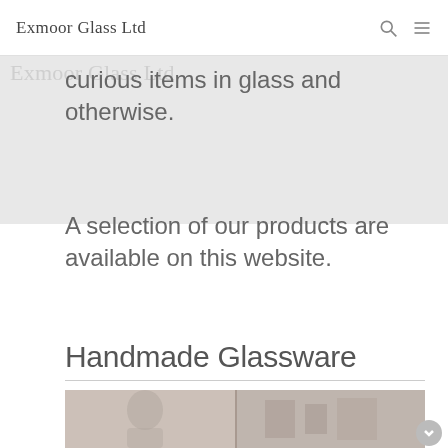Exmoor Glass Ltd
curious items in glass and otherwise.
A selection of our products are available on this website.
Handmade Glassware
[Figure (photo): A photo showing a person and display items, partially visible at the bottom of the page.]